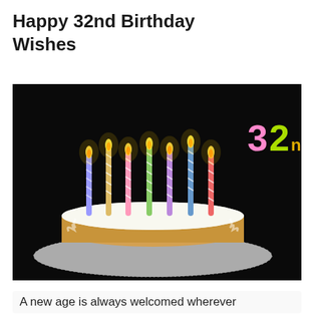Happy 32nd Birthday Wishes
[Figure (photo): A birthday cake with 7 colorful striped candles lit on top, sitting on a doily, with a dark black background. In the upper right corner the text '32nd' is displayed with '3' in pink, '2' in green/lime, and 'nd' in yellow/gold.]
A new age is always welcomed wherever